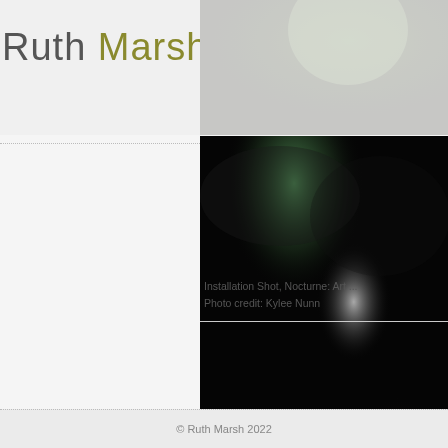Ruth Marsh
[Figure (photo): Top right header area showing a partially visible figure with soft light, muted tones — appears to be part of an art installation scene.]
[Figure (photo): Dark installation shot showing dramatic low light with a green glowing light source at top and faint reddish light at bottom right — night or dark room setting.]
Installation Shot, Nocturne: Art ...
Photo credit: Kylee Nunn
© Ruth Marsh 2022